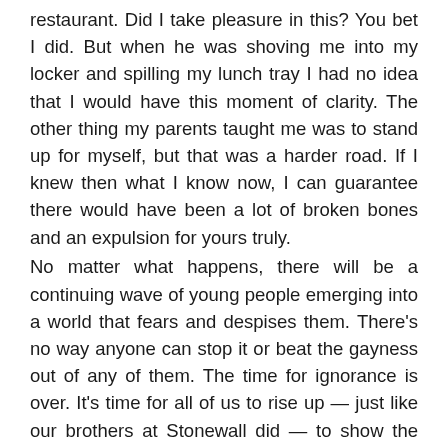restaurant. Did I take pleasure in this? You bet I did. But when he was shoving me into my locker and spilling my lunch tray I had no idea that I would have this moment of clarity. The other thing my parents taught me was to stand up for myself, but that was a harder road. If I knew then what I know now, I can guarantee there would have been a lot of broken bones and an expulsion for yours truly.
No matter what happens, there will be a continuing wave of young people emerging into a world that fears and despises them. There's no way anyone can stop it or beat the gayness out of any of them. The time for ignorance is over. It's time for all of us to rise up — just like our brothers at Stonewall did — to show the world that we are not going anywhere and that we will protect our young like a lioness on the African veldt. There's a new era coming and I am going to do whatever it takes to gay it forward and cement my legacy. What are you going to do?